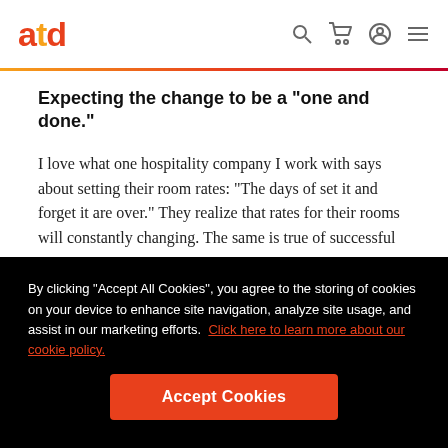atd
Expecting the change to be a "one and done."
I love what one hospitality company I work with says about setting their room rates: "The days of set it and forget it are over." They realize that rates for their rooms will constantly changing. The same is true of successful organizations. A
By clicking “Accept All Cookies”, you agree to the storing of cookies on your device to enhance site navigation, analyze site usage, and assist in our marketing efforts. Click here to learn more about our cookie policy.
Accept Cookies